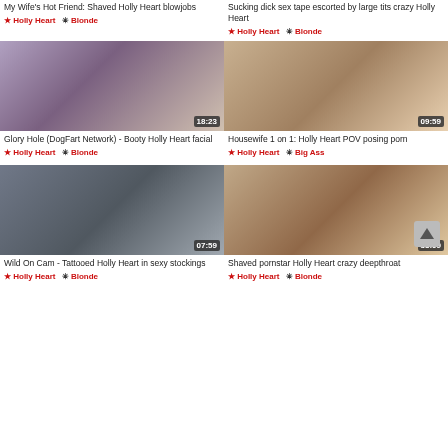My Wife's Hot Friend: Shaved Holly Heart blowjobs
★ Holly Heart ✳ Blonde
Sucking dick sex tape escorted by large tits crazy Holly Heart
★ Holly Heart ✳ Blonde
[Figure (photo): Video thumbnail 18:23 - Glory Hole DogFart Network Booty Holly Heart facial]
Glory Hole (DogFart Network) - Booty Holly Heart facial
★ Holly Heart ✳ Blonde
[Figure (photo): Video thumbnail 09:59 - Housewife 1 on 1 Holly Heart POV posing porn]
Housewife 1 on 1: Holly Heart POV posing porn
★ Holly Heart ✳ Big Ass
[Figure (photo): Video thumbnail 07:59 - Wild On Cam Tattooed Holly Heart in sexy stockings]
Wild On Cam - Tattooed Holly Heart in sexy stockings
★ Holly Heart ✳ Blonde
[Figure (photo): Video thumbnail 33:09 - Shaved pornstar Holly Heart crazy deepthroat]
Shaved pornstar Holly Heart crazy deepthroat
★ Holly Heart ✳ Blonde